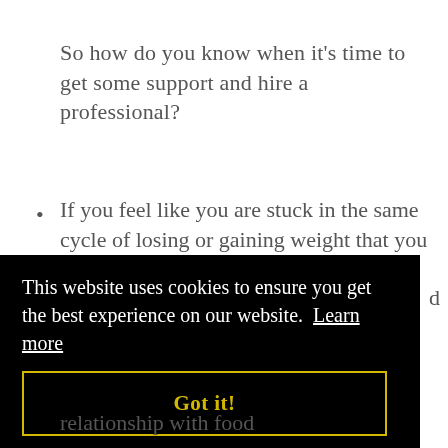So how do you know when it's time to get some support and hire a professional?
If you feel like you are stuck in the same cycle of losing or gaining weight that you can't seem to break
This website uses cookies to ensure you get the best experience on our website. Learn more
Got it!
relationship with food